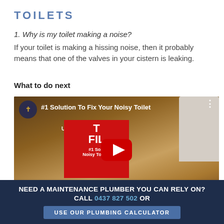TOILETS
1. Why is my toilet making a noise?
If your toilet is making a hissing noise, then it probably means that one of the valves in your cistern is leaking.
What to do next
[Figure (screenshot): YouTube video thumbnail showing a hand holding a red 'Universal Toilet Filler' product box labeled '#1 Solution To Fix Your Noisy Toilet', with a YouTube play button overlay. Channel icon in top left.]
NEED A MAINTENANCE PLUMBER YOU CAN RELY ON? CALL 0437 827 502 OR
USE OUR PLUMBING CALCULATOR